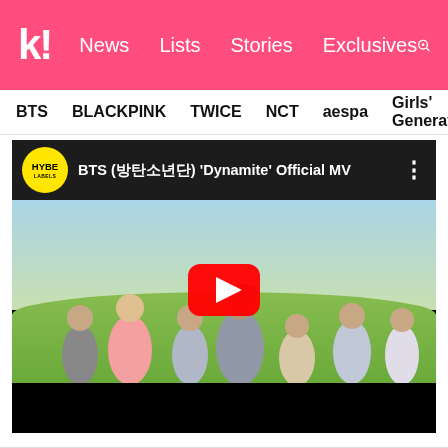k! News  Lists  Stories  Exclusives
BTS  BLACKPINK  TWICE  NCT  aespa  Girls' Generation
[Figure (screenshot): YouTube video embed showing BTS 'Dynamite' Official MV with HYBE LABELS channel icon, black top bar with video title, thumbnail showing BTS members standing outdoors on green hills with blue sky, red YouTube play button overlay, black bottom bar]
Now at 20.3 million likes.